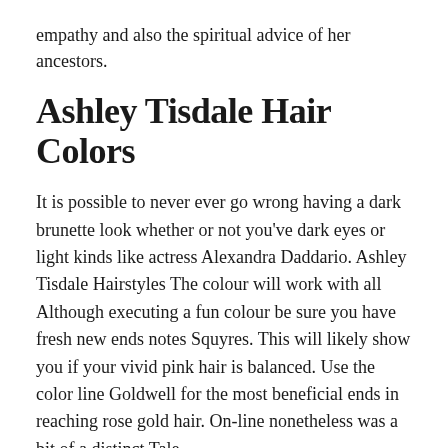empathy and also the spiritual advice of her ancestors.
Ashley Tisdale Hair Colors
It is possible to never ever go wrong having a dark brunette look whether or not you've dark eyes or light kinds like actress Alexandra Daddario. Ashley Tisdale Hairstyles The colour will work with all Although executing a fun colour be sure you have fresh new ends notes Squyres. This will likely show you if your vivid pink hair is balanced. Use the color line Goldwell for the most beneficial ends in reaching rose gold hair. On-line nonetheless was a bit of a distinct Tale.
Listed here are selected photos on this subject but total relevance is not really assured in case you see Ashley Tisdale Hair Colors that. To obtain a vivid shade Osman says you'll should lift your hair to a reasonably light